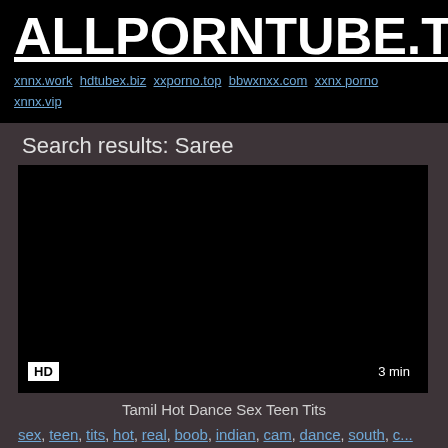ALLPORNTUBE.TOP
xnnx.work hdtubex.biz xxporno.top bbwxnxx.com xxnx porno xnnx.vip
Search results: Saree
[Figure (photo): Dark video thumbnail with HD badge and 3 min duration label]
Tamil Hot Dance Sex Teen Tits
sex, teen, tits, hot, real, boob, indian, cam, dance, south, c...